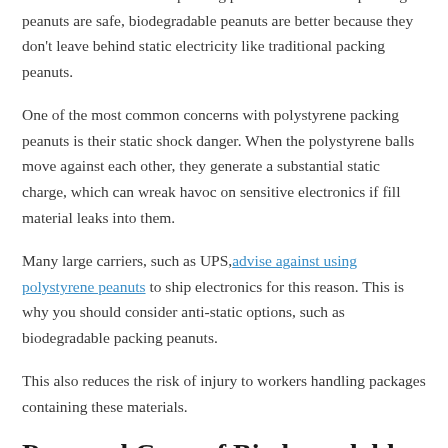are safer than traditional packing peanuts. While both packing peanuts are safe, biodegradable peanuts are better because they don't leave behind static electricity like traditional packing peanuts.
One of the most common concerns with polystyrene packing peanuts is their static shock danger. When the polystyrene balls move against each other, they generate a substantial static charge, which can wreak havoc on sensitive electronics if fill material leaks into them.
Many large carriers, such as UPS, advise against using polystyrene peanuts to ship electronics for this reason. This is why you should consider anti-static options, such as biodegradable packing peanuts.
This also reduces the risk of injury to workers handling packages containing these materials.
Pros and Cons of Biodegradable